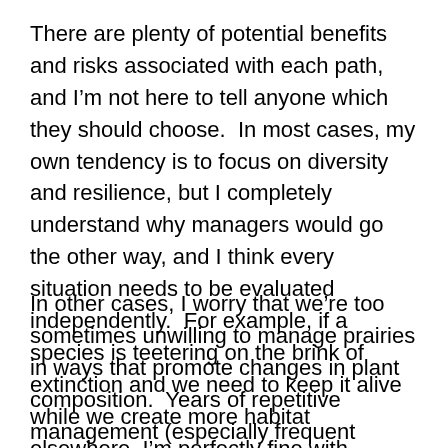There are plenty of potential benefits and risks associated with each path, and I'm not here to tell anyone which they should choose.  In most cases, my own tendency is to focus on diversity and resilience, but I completely understand why managers would go the other way, and I think every situation needs to be evaluated independently.  For example, if a species is teetering on the brink of extinction and we need to keep it alive while we create more habitat elsewhere, I'm perfectly fine with prioritizing management to favor that species.
In other cases, I worry that we're too sometimes unwilling to manage prairies in ways that promote changes in plant composition.  Years of repetitive management (especially frequent haying or burning) create conditions under which plant communities seem very stable.  However, that